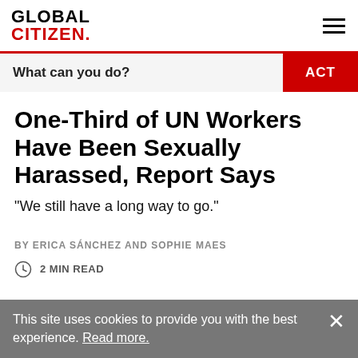GLOBAL CITIZEN.
What can you do? ACT
One-Third of UN Workers Have Been Sexually Harassed, Report Says
"We still have a long way to go."
BY ERICA SÁNCHEZ AND SOPHIE MAES
2 MIN READ
This site uses cookies to provide you with the best experience. Read more.